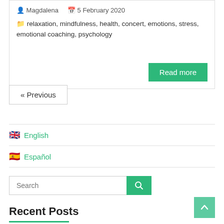Magdalena  5 February 2020
relaxation, mindfulness, health, concert, emotions, stress, emotional coaching, psychology
Read more
« Previous
English
Español
Search
Recent Posts